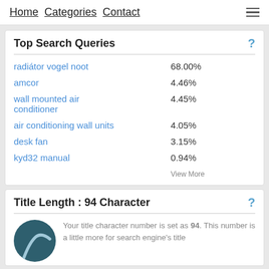Home  Categories  Contact
Top Search Queries
| Query | Percentage |
| --- | --- |
| radiátor vogel noot | 68.00% |
| amcor | 4.46% |
| wall mounted air conditioner | 4.45% |
| air conditioning wall units | 4.05% |
| desk fan | 3.15% |
| kyd32 manual | 0.94% |
View More
Title Length : 94 Character
Your title character number is set as 94. This number is a little more for search engine's title